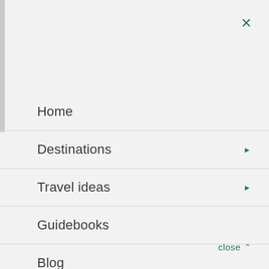Home
Destinations
Travel ideas
Guidebooks
Blog
About us
close ∧